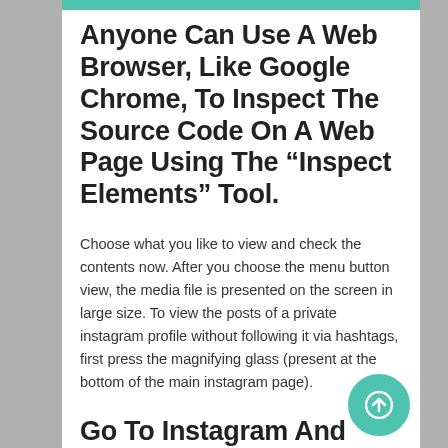Anyone Can Use A Web Browser, Like Google Chrome, To Inspect The Source Code On A Web Page Using The “Inspect Elements” Tool.
Choose what you like to view and check the contents now. After you choose the menu button view, the media file is presented on the screen in large size. To view the posts of a private instagram profile without following it via hashtags, first press the magnifying glass (present at the bottom of the main instagram page).
Go To Instagram And Search For The Private Account You Want To Vi...